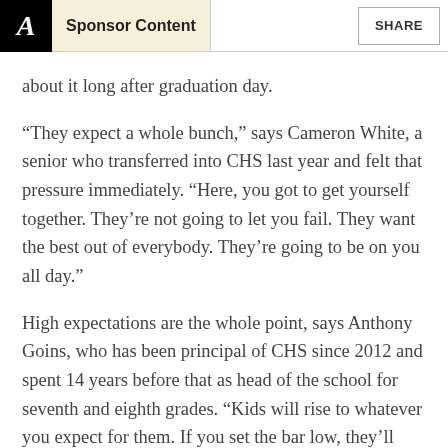Sponsor Content | SHARE
about it long after graduation day.
“They expect a whole bunch,” says Cameron White, a senior who transferred into CHS last year and felt that pressure immediately. “Here, you got to get yourself together. They’re not going to let you fail. They want the best out of everybody. They’re going to be on you all day.”
High expectations are the whole point, says Anthony Goins, who has been principal of CHS since 2012 and spent 14 years before that as head of the school for seventh and eighth grades. “Kids will rise to whatever you expect for them. If you set the bar low, they’ll give